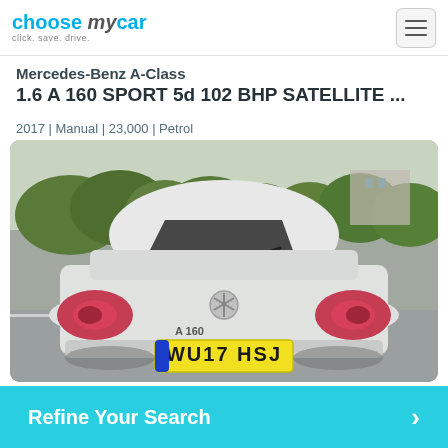choose my car – click. save. drive.
Mercedes-Benz A-Class 1.6 A 160 SPORT 5d 102 BHP SATELLITE ...
2017 | Manual | 23,000 | Petrol
[Figure (photo): Rear view of a white Mercedes-Benz A-Class with registration plate WU17 HSJ, parked in a car park with trees and buildings in background.]
Refine Your Search